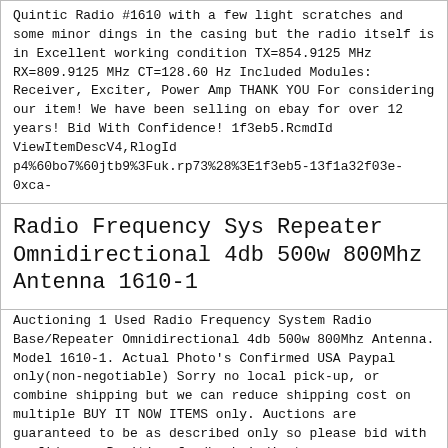Quintic Radio #1610 with a few light scratches and some minor dings in the casing but the radio itself is in Excellent working condition TX=854.9125 MHz RX=809.9125 MHz CT=128.60 Hz Included Modules: Receiver, Exciter, Power Amp THANK YOU For considering our item! We have been selling on ebay for over 12 years! Bid With Confidence! 1f3eb5.RcmdId ViewItemDescV4,RlogId p4%60bo7%60jtb9%3Fuk.rp73%28%3E1f3eb5-13f1a32f03e-0xca-
Radio Frequency Sys Repeater Omnidirectional 4db 500w 800Mhz Antenna 1610-1
Auctioning 1 Used Radio Frequency System Radio Base/Repeater Omnidirectional 4db 500w 800Mhz Antenna. Model 1610-1. Actual Photo's Confirmed USA Paypal only(non-negotiable) Sorry no local pick-up, or combine shipping but we can reduce shipping cost on multiple BUY IT NOW ITEMS only. Auctions are guaranteed to be as described only so please bid with confidence. Positive feedback indicates you are satisfied with your product. Don't hesitate to contact us if your unsatisfied or have any other questions 480-593-0564
Motorola Radio / HAM UHF Repeater Amplifier 60 Watts Model# TLE1714A-1
Motorola Radio/ HAM UHF Repeater Amplifier Model# TLE1714A-1 I believe this is a 60 Watt unit. Feel free to email or call with any questions. Thanx Matt 951-565-4011